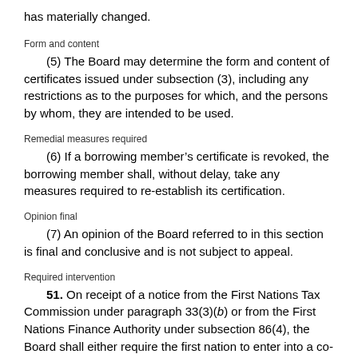has materially changed.
Form and content
(5) The Board may determine the form and content of certificates issued under subsection (3), including any restrictions as to the purposes for which, and the persons by whom, they are intended to be used.
Remedial measures required
(6) If a borrowing member’s certificate is revoked, the borrowing member shall, without delay, take any measures required to re-establish its certification.
Opinion final
(7) An opinion of the Board referred to in this section is final and conclusive and is not subject to appeal.
Required intervention
51. On receipt of a notice from the First Nations Tax Commission under paragraph 33(3)(b) or from the First Nations Finance Authority under subsection 86(4), the Board shall either require the first nation to enter into a co-